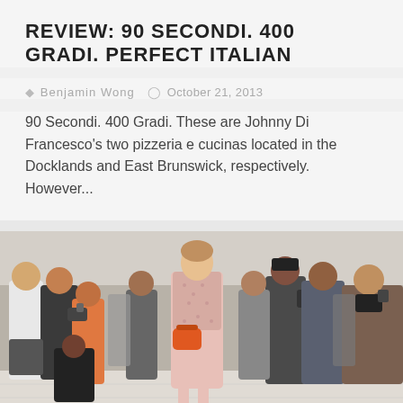REVIEW: 90 SECONDI. 400 GRADI. PERFECT ITALIAN
Benjamin Wong   October 21, 2013
90 Secondi. 400 Gradi. These are Johnny Di Francesco's two pizzeria e cucinas located in the Docklands and East Brunswick, respectively. However...
[Figure (photo): Street style photo of a woman in a pink patterned outfit carrying an orange bag, surrounded by photographers and onlookers on a city street.]
REMOTE CONTROL TOURIST IN MELBOURNE